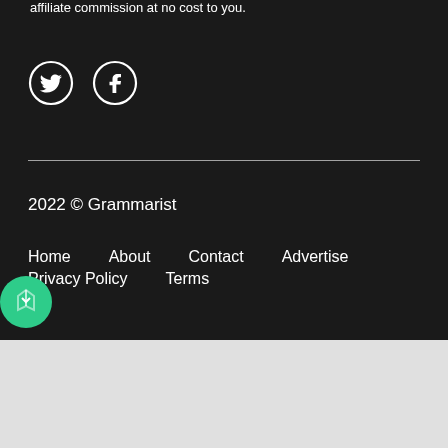affiliate commission at no cost to you.
[Figure (illustration): Twitter and Facebook social media icons as white symbols inside dark circles with white outlines]
2022 © Grammarist
Home   About   Contact   Advertise   Privacy Policy   Terms
[Figure (logo): Circular green logo badge in bottom left corner]